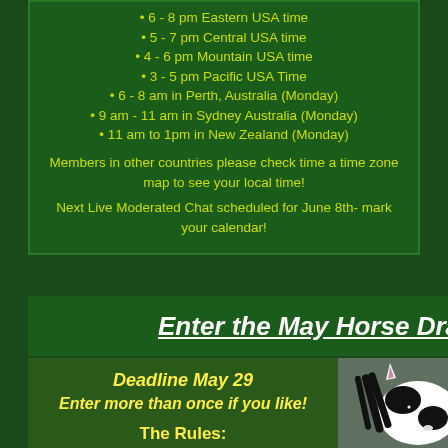6 - 8 pm Eastern USA time
5 - 7 pm Central USA time
4 - 6 pm Mountain USA time
3 - 5 pm Pacific USA Time
6 - 8 am in Perth, Australia (Monday)
9 am - 11 am in Sydney Australia (Monday)
11 am to 1pm in New Zealand (Monday)
Members in other countries please check time a time zone map to see your local time!
Next Live Moderated Chat scheduled for June 8th- mark your calendar!
Enter the May Horse Dra
Deadline May 29
Enter more than once if you like!
The Rules:
1. The drawing must include